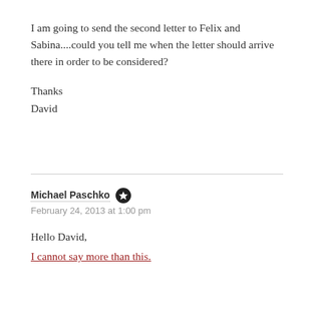I am going to send the second letter to Felix and Sabina....could you tell me when the letter should arrive there in order to be considered?
Thanks
David
Michael Paschko
February 24, 2013 at 1:00 pm
Hello David,
I cannot say more than this.